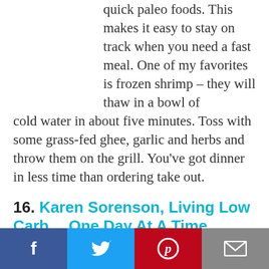quick paleo foods. This makes it easy to stay on track when you need a fast meal. One of my favorites is frozen shrimp – they will thaw in a bowl of cold water in about five minutes. Toss with some grass-fed ghee, garlic and herbs and throw them on the grill. You've got dinner in less time than ordering take out.
16. Karen Sorenson, Living Low Carb… One Day At A Time
My biggest advice would be to plan ahead. I